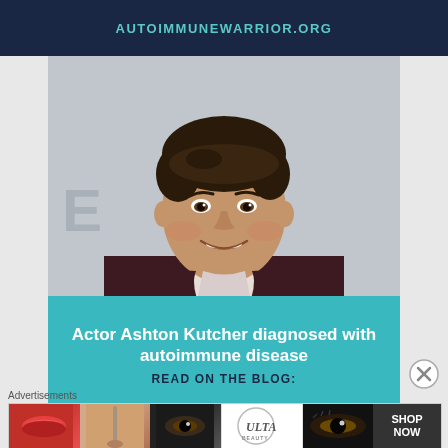AUTOIMMUNEWARRIOR.ORG
[Figure (photo): Photo of actor Ashton Kutcher smiling, wearing a dark maroon blazer over a light shirt, at a public event.]
Actor Ashton Kutcher diagnosed with autoimmune disease
READ ON THE BLOG:
Advertisements
[Figure (photo): Advertisement banner strip with beauty/cosmetics imagery including lips, makeup brush, eyes, Ulta Beauty logo, and SHOP NOW text.]